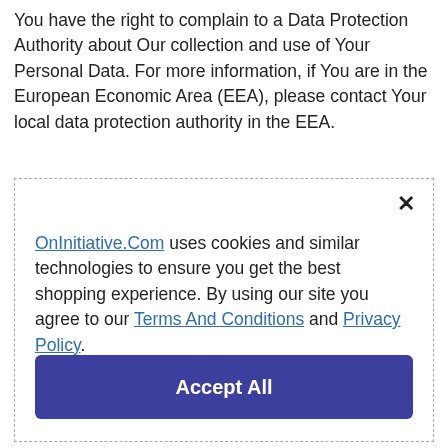You have the right to complain to a Data Protection Authority about Our collection and use of Your Personal Data. For more information, if You are in the European Economic Area (EEA), please contact Your local data protection authority in the EEA.
OnInitiative.Com uses cookies and similar technologies to ensure you get the best shopping experience. By using our site you agree to our Terms And Conditions and Privacy Policy.